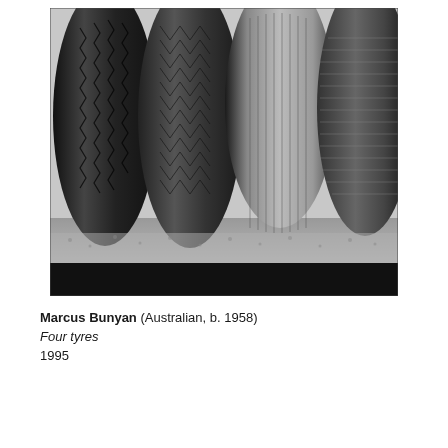[Figure (photo): Black and white close-up photograph of four tyres standing side by side, showing different tread patterns. The tyres rest on a gravelly surface. The leftmost tyre has a zigzag/chevron tread pattern, the second has a diamond-mesh pattern, the third shows text/lettering on its sidewall with vertical ribbing, and the rightmost has fine horizontal ribbing. The bottom portion of the image has a black bar.]
Marcus Bunyan (Australian, b. 1958)
Four tyres
1995